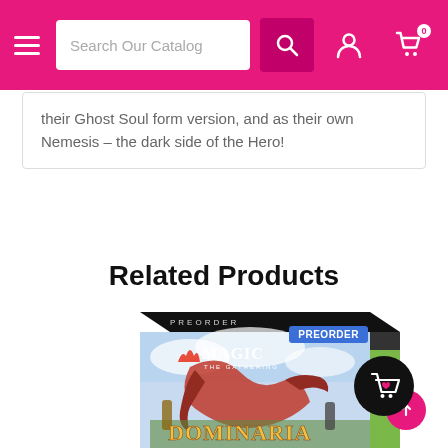Search Our Catalog [navigation bar with hamburger menu, search box, user icon, cart icon with 0]
their Ghost Soul form version, and as their own Nemesis – the dark side of the Hero!
Related Products
[Figure (photo): Magic: The Gathering Dominaria product box with PREORDER badge, showing fantasy artwork with a large red creature and characters, green spine visible on right side]